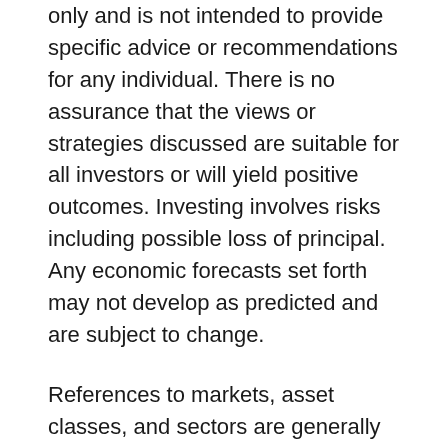only and is not intended to provide specific advice or recommendations for any individual. There is no assurance that the views or strategies discussed are suitable for all investors or will yield positive outcomes. Investing involves risks including possible loss of principal. Any economic forecasts set forth may not develop as predicted and are subject to change.
References to markets, asset classes, and sectors are generally regarding the corresponding market index. Indexes are